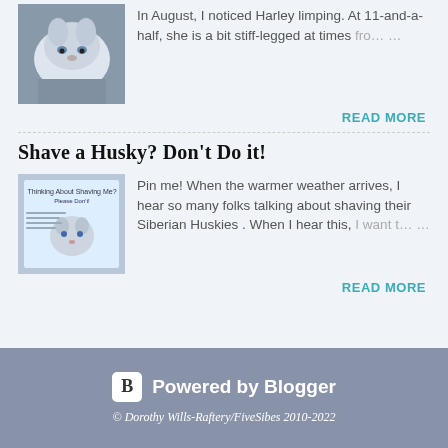In August, I noticed Harley limping. At 11-and-a-half, she is a bit stiff-legged at times from …
READ MORE
Shave a Husky? Don't Do it!
Pin me! When the warmer weather arrives, I hear so many folks talking about shaving their Siberian Huskies . When I hear this, I want t …
READ MORE
Powered by Blogger
© Dorothy Wills-Raftery/FiveSibes 2010-2022